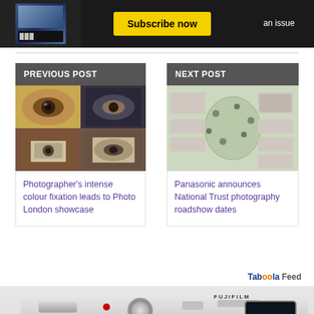[Figure (photo): Magazine advertisement banner: dark background with magazine cover on left, yellow 'Subscribe now' button in center, 'an issue' text on right]
[Figure (photo): Previous Post thumbnail: collage of eyes and photographs in warm tones]
Photographer's intense colour fixation leads to Photo London showcase
[Figure (photo): Next Post thumbnail: map or infographic with images and location markers on UK map]
Panasonic announces National Trust photography roadshow dates
Taboola Feed
[Figure (photo): Close-up photo of a Fujifilm compact camera (X100 series) in silver/black, showing lens with FUJINON ASPHERICAL L... text, viewfinder, and top controls]